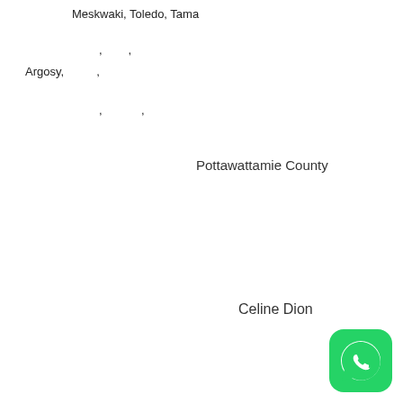Meskwaki, Toledo, Tama [redacted link]
, ,
Argosy, ,
, ,
Pottawattamie County
Celine Dion
[Figure (logo): WhatsApp logo icon - green rounded square with white phone/chat bubble icon]